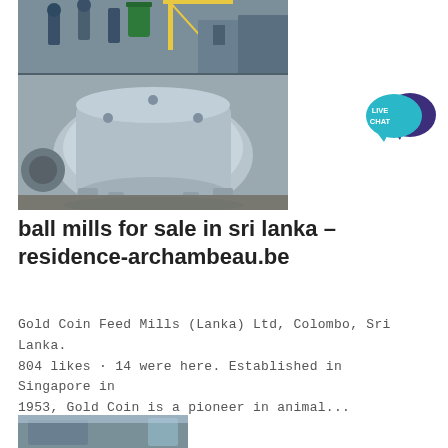[Figure (photo): Industrial ball mill equipment being assembled or manufactured in a factory/workshop setting. Workers visible in the background. Large circular metal housing/body of a ball mill in the foreground.]
[Figure (logo): Live Chat widget button with teal speech bubble and dark purple larger speech bubble overlapping, with text 'LIVE CHAT' in white inside the teal bubble.]
ball mills for sale in sri lanka - residence-archambeau.be
Gold Coin Feed Mills (Lanka) Ltd, Colombo, Sri Lanka. 804 likes · 14 were here. Established in Singapore in 1953, Gold Coin is a pioneer in animal...
[Figure (photo): Partial view of another industrial milling equipment image at the bottom of the page, cropped.]